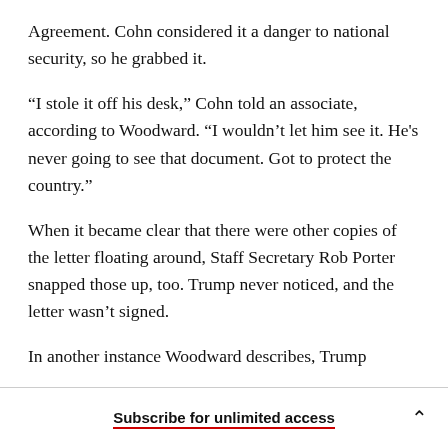Agreement. Cohn considered it a danger to national security, so he grabbed it.
“I stole it off his desk,” Cohn told an associate, according to Woodward. “I wouldn’t let him see it. He's never going to see that document. Got to protect the country.”
When it became clear that there were other copies of the letter floating around, Staff Secretary Rob Porter snapped those up, too. Trump never noticed, and the letter wasn’t signed.
In another instance Woodward describes, Trump
Subscribe for unlimited access